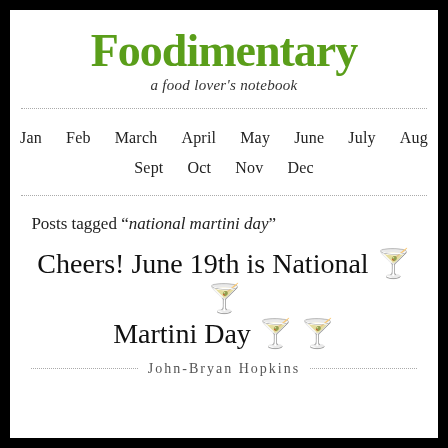Foodimentary
a food lover's notebook
Jan  Feb  March  April  May  June  July  Aug  Sept  Oct  Nov  Dec
Posts tagged "national martini day"
Cheers! June 19th is National 🍸🍸 Martini Day 🍸 🍸
John-Bryan Hopkins